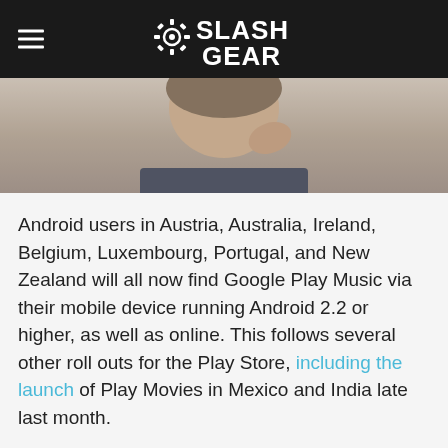SlashGear
[Figure (photo): Close-up photo of a person holding a phone up to their ear/face, wearing a dark shirt, against a neutral background]
Android users in Austria, Australia, Ireland, Belgium, Luxembourg, Portugal, and New Zealand will all now find Google Play Music via their mobile device running Android 2.2 or higher, as well as online. This follows several other roll outs for the Play Store, including the launch of Play Movies in Mexico and India late last month.
A couple days before the launch of Play Movies in Mexico, Google rolled out Play Books in the country, offering international bestsellers and local titles. It also seems that Google will be releasing Play Store gift